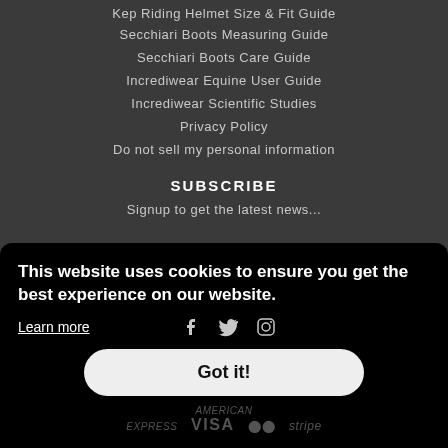Kep Riding Helmet Size & Fit Guide
Secchiari Boots Measuring Guide
Secchiari Boots Care Guide
Incrediwear Equine User Guide
Incrediwear Scientific Studies
Privacy Policy
Do not sell my personal information
SUBSCRIBE
Signup to get the latest news...
This website uses cookies to ensure you get the best experience on our website.
Learn more
Got it!